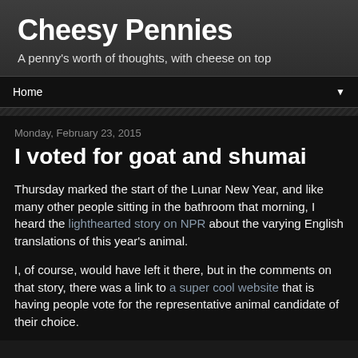Cheesy Pennies
A penny's worth of thoughts, with cheese on top
Home
Monday, February 23, 2015
I voted for goat and shumai
Thursday marked the start of the Lunar New Year, and like many other people sitting in the bathroom that morning, I heard the lighthearted story on NPR about the varying English translations of this year's animal.
I, of course, would have left it there, but in the comments on that story, there was a link to a super cool website that is having people vote for the representative animal candidate of their choice.